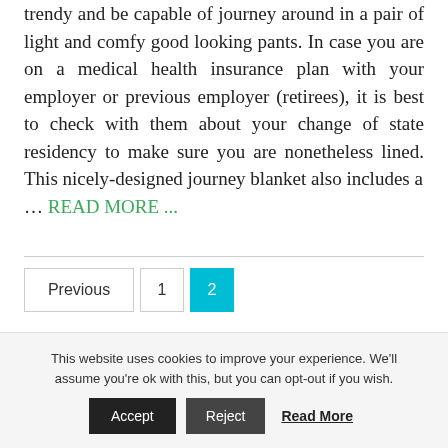trendy and be capable of journey around in a pair of light and comfy good looking pants. In case you are on a medical health insurance plan with your employer or previous employer (retirees), it is best to check with them about your change of state residency to make sure you are nonetheless lined. This nicely-designed journey blanket also includes a … READ MORE ...
Previous 1 2
This website uses cookies to improve your experience. We'll assume you're ok with this, but you can opt-out if you wish. Accept Reject Read More